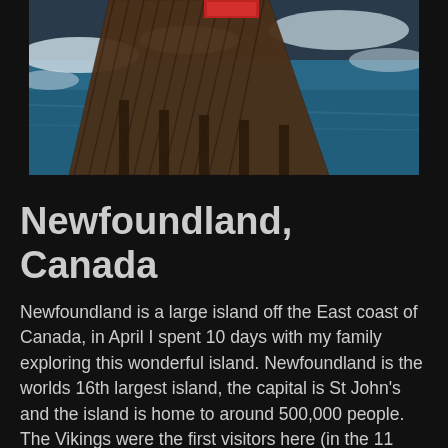[Figure (photo): A weathered wooden dock/pier extending over dark blue water with ice and snow visible, photographed from above at an angle. A red sign is partially visible at the top.]
Newfoundland, Canada
Newfoundland is a large island off the East coast of Canada, in April I spent 10 days with my family exploring this wonderful island. Newfoundland is the worlds 16th largest island, the capital is St John's and the island is home to around 500,000 people. The Vikings were the first visitors here (in the 11 century) followed by many other European cultures. It was formally claimed by the British in 1583 and was Englands first overseas settlement